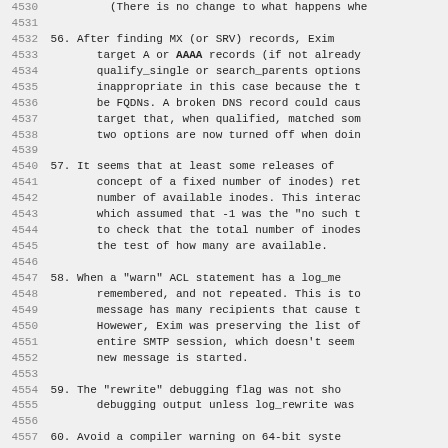4530    (There is no change to what happens whe
4531
4532 56. After finding MX (or SRV) records, Exim
4533        target A or AAAA records (if not already
4534        qualify_single or search_parents options
4535        inappropriate in this case because the t
4536        be FQDNs. A broken DNS record could caus
4537        target that, when qualified, matched som
4538        two options are now turned off when doin
4539
4540 57. It seems that at least some releases of
4541        concept of a fixed number of inodes) ret
4542        number of available inodes. This interac
4543        which assumed that -1 was the "no such t
4544        to check that the total number of inodes
4545        the test of how many are available.
4546
4547 58. When a "warn" ACL statement has a log_me
4548        remembered, and not repeated. This is to
4549        message has many recipients that cause t
4550        Howewer, Exim was preserving the list of
4551        entire SMTP session, which doesn't seem
4552        new message is started.
4553
4554 59. The "rewrite" debugging flag was not sho
4555        debugging output unless log_rewrite was
4556
4557 60. Avoid a compiler warning on 64-bit syste
4558        of (int)(handle) when we know that handl
4559
4560 61. The Exim daemon panic-logs an error retu
4561        connection. However "connection reset by
4562        isn't really an error worthy of noting...